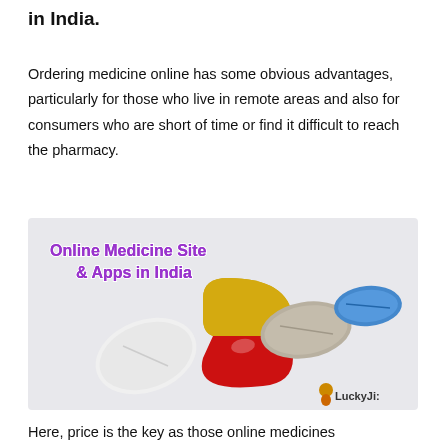in India.
Ordering medicine online has some obvious advantages, particularly for those who live in remote areas and also for consumers who are short of time or find it difficult to reach the pharmacy.
[Figure (illustration): Promotional image showing 3D rendered pills and capsules (white oval tablet, red-yellow capsule, beige tablet, blue tablet) with text 'Online Medicine Site & Apps in India' and a LuckyJi watermark logo in the bottom right corner.]
Here, price is the key as those online medicines